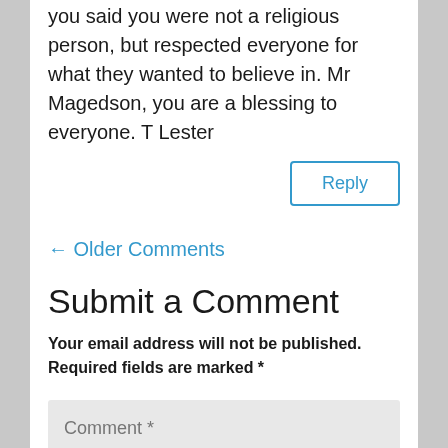you said you were not a religious person, but respected everyone for what they wanted to believe in. Mr Magedson, you are a blessing to everyone. T Lester
Reply
← Older Comments
Submit a Comment
Your email address will not be published. Required fields are marked *
Comment *